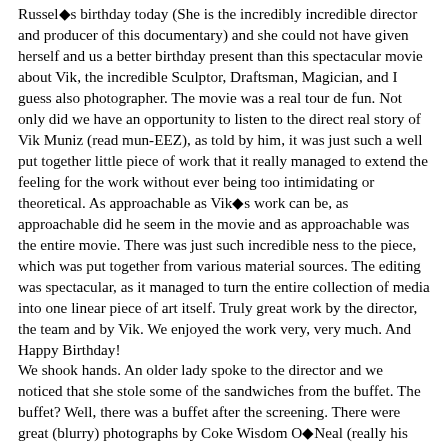Russel's birthday today (She is the incredibly incredible director and producer of this documentary) and she could not have given herself and us a better birthday present than this spectacular movie about Vik, the incredible Sculptor, Draftsman, Magician, and I guess also photographer. The movie was a real tour de fun. Not only did we have an opportunity to listen to the direct real story of Vik Muniz (read mun-EEZ), as told by him, it was just such a well put together little piece of work that it really managed to extend the feeling for the work without ever being too intimidating or theoretical. As approachable as Vik's work can be, as approachable did he seem in the movie and as approachable was the entire movie. There was just such incredible ness to the piece, which was put together from various material sources. The editing was spectacular, as it managed to turn the entire collection of media into one linear piece of art itself. Truly great work by the director, the team and by Vik. We enjoyed the work very, very much. And Happy Birthday! We shook hands. An older lady spoke to the director and we noticed that she stole some of the sandwiches from the buffet. The buffet? Well, there was a buffet after the screening. There were great (blurry) photographs by Coke Wisdom O'Neal (really his name), and the only person missing was probably Vik Muniz himself. He is currently on his Honeymoon (congratulations) in Turkey. Blessings to him. A great, great, great story. And a great, great, great movie, about a truly great contemporary artist. I really